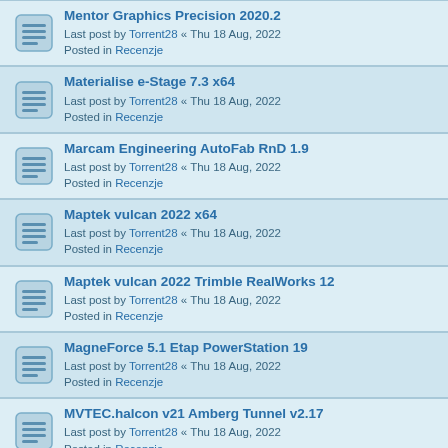Mentor Graphics Precision 2020.2 | Last post by Torrent28 « Thu 18 Aug, 2022 | Posted in Recenzje
Materialise e-Stage 7.3 x64 | Last post by Torrent28 « Thu 18 Aug, 2022 | Posted in Recenzje
Marcam Engineering AutoFab RnD 1.9 | Last post by Torrent28 « Thu 18 Aug, 2022 | Posted in Recenzje
Maptek vulcan 2022 x64 | Last post by Torrent28 « Thu 18 Aug, 2022 | Posted in Recenzje
Maptek vulcan 2022 Trimble RealWorks 12 | Last post by Torrent28 « Thu 18 Aug, 2022 | Posted in Recenzje
MagneForce 5.1 Etap PowerStation 19 | Last post by Torrent28 « Thu 18 Aug, 2022 | Posted in Recenzje
MVTEC.halcon v21 Amberg Tunnel v2.17 | Last post by Torrent28 « Thu 18 Aug, 2022 | Posted in Recenzje
MOSEK Optimization Suite 9.3.7 | Last post by Torrent28 « Thu 18 Aug, 2022 | Posted in Recenzje
Lighttools v2022 VPI v11.1 | Last post by Torrent28 « Thu 18 Aug, 2022 | Posted in Recenzje